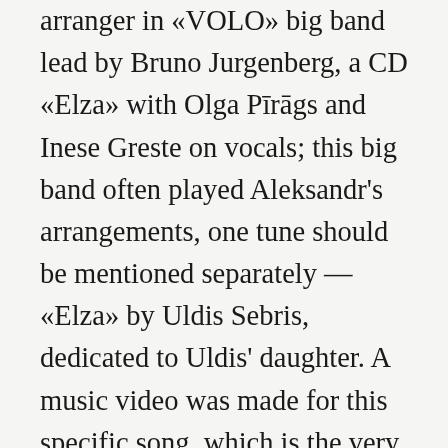arranger in «VOLO» big band lead by Bruno Jurgenberg, a CD «Elza» with Olga Pīrāgs and Inese Greste on vocals; this big band often played Aleksandr's arrangements, one tune should be mentioned separately — «Elza» by Uldis Sebris, dedicated to Uldis' daughter. A music video was made for this specific song, which is the very first jazz tune with its own video (unconfirmed). «VOLO» big band played a lot in different concerts, even in the International Sports Dance competition, providing comping for the dancers. «VOLO» big band has been a